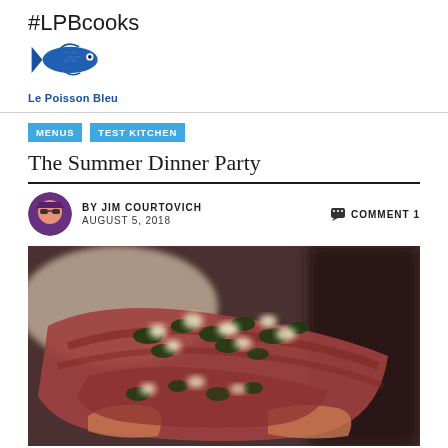#LPBcooks
[Figure (logo): Le Poisson Bleu logo with blue fish illustration and text 'Le Poisson Bleu']
MENUS  TEST KITCHEN
The Summer Dinner Party
BY JIM COURTOVICH  AUGUST 5, 2018  COMMENT 1
[Figure (photo): Close-up food photo showing meat or steak topped with green herbs and white cheese pieces, held in hands, blurred background]